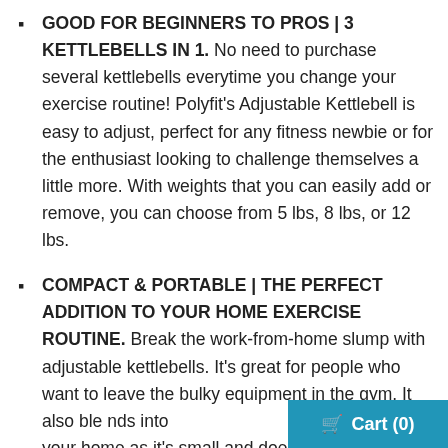GOOD FOR BEGINNERS TO PROS | 3 KETTLEBELLS IN 1. No need to purchase several kettlebells everytime you change your exercise routine! Polyfit's Adjustable Kettlebell is easy to adjust, perfect for any fitness newbie or for the enthusiast looking to challenge themselves a little more. With weights that you can easily add or remove, you can choose from 5 lbs, 8 lbs, or 12 lbs.
COMPACT & PORTABLE | THE PERFECT ADDITION TO YOUR HOME EXERCISE ROUTINE. Break the work-from-home slump with adjustable kettlebells. It's great for people who want to leave the bulky equipment in the gym. It also blends into your home as it's small and doesn't take up